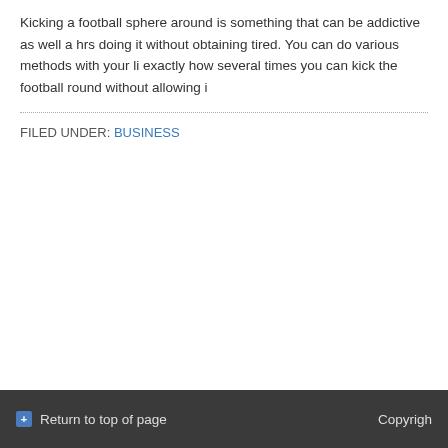Kicking a football sphere around is something that can be addictive as well a hrs doing it without obtaining tired. You can do various methods with your li exactly how several times you can kick the football round without allowing i
FILED UNDER: BUSINESS
Return to top of page   Copyright